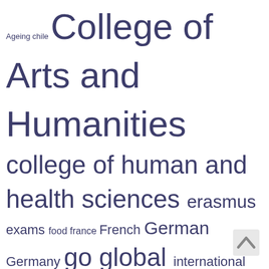[Figure (other): Tag cloud with words of varying sizes related to student life, study abroad, Swansea University, language learning, and postgraduate studies]